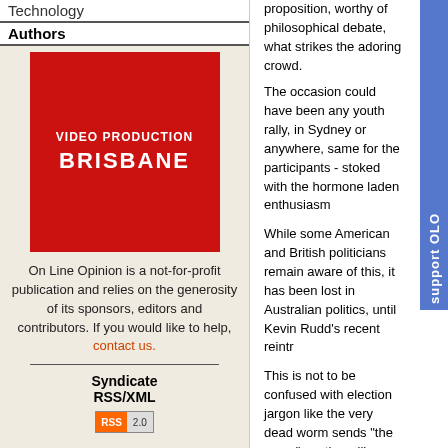Technology
Authors
[Figure (illustration): Red advertisement box for Video Production Brisbane]
On Line Opinion is a not-for-profit publication and relies on the generosity of its sponsors, editors and contributors. If you would like to help, contact us.
Syndicate RSS/XML
[Figure (logo): RSS 2.0 badge]
proposition, worthy of philosophical debate, what strikes the adoring crowd.
The occasion could have been any youth rally, in Sydney or anywhere, same for the participants - stoked with the hormone laden enthusiasm
While some American and British politicians remain aware of this, it has been lost in Australian politics, until Kevin Rudd's recent reintr
This is not to be confused with election jargon like the very dead worm sends “the worm” south, unlike good oratory which holds the a